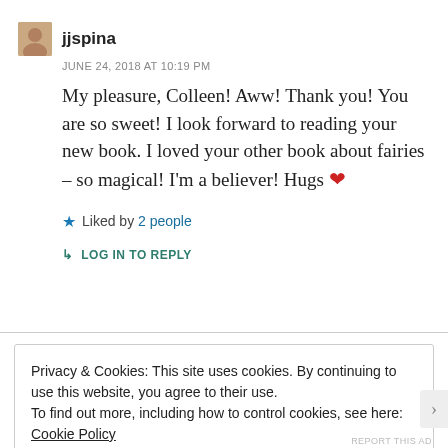jjspina
JUNE 24, 2018 AT 10:19 PM
My pleasure, Colleen! Aww! Thank you! You are so sweet! I look forward to reading your new book. I loved your other book about fairies – so magical! I'm a believer! Hugs ❤
★ Liked by 2 people
↳ LOG IN TO REPLY
Privacy & Cookies: This site uses cookies. By continuing to use this website, you agree to their use.
To find out more, including how to control cookies, see here: Cookie Policy
Close and accept